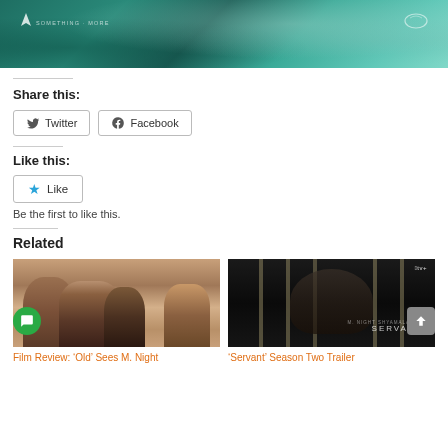[Figure (photo): Teal/green aerial ocean or nature banner image with website logo and text on left and icon on right]
Share this:
[Figure (other): Twitter and Facebook social share buttons]
Like this:
[Figure (other): Like button with blue star icon]
Be the first to like this.
Related
[Figure (photo): Film still showing group of people hugging – related article thumbnail for Film Review: 'Old' Sees M. Night]
Film Review: ‘Old’ Sees M. Night
[Figure (photo): Servant Season 2 Apple TV+ promotional image showing person behind bars]
‘Servant’ Season Two Trailer